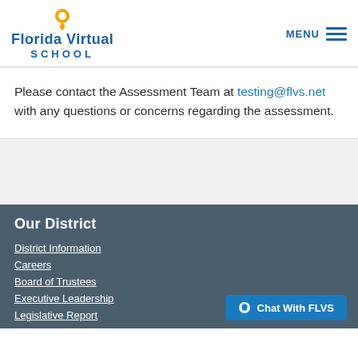[Figure (logo): Florida Virtual School logo with orange location pin icon above blue text reading 'Florida Virtual SCHOOL']
Please contact the Assessment Team at testing@flvs.net with any questions or concerns regarding the assessment.
Our District
District Information
Careers
Board of Trustees
Executive Leadership
Legislative Report